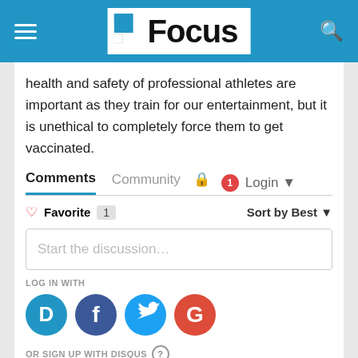Focus
health and safety of professional athletes are important as they train for our entertainment, but it is unethical to completely force them to get vaccinated.
Comments  Community  Login
Favorite 1   Sort by Best
Start the discussion…
LOG IN WITH
[Figure (logo): Social login icons: Disqus (D), Facebook (f), Twitter bird, Google (G)]
OR SIGN UP WITH DISQUS ?
Name